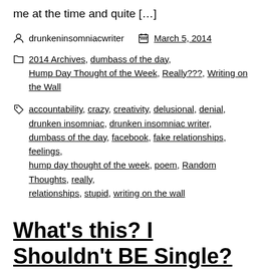me at the time and quite […]
drunkeninsomniacwriter   March 5, 2014
2014 Archives, dumbass of the day, Hump Day Thought of the Week, Really???, Writing on the Wall
accountability, crazy, creativity, delusional, denial, drunken insomniac, drunken insomniac writer, dumbass of the day, facebook, fake relationships, feelings, hump day thought of the week, poem, Random Thoughts, really, relationships, stupid, writing on the wall
What's this? I Shouldn't BE Single? (A B*tch Blog)
So today's blog is brought to you by the last few 'Hump Day Thought of the Week' posts. I know for